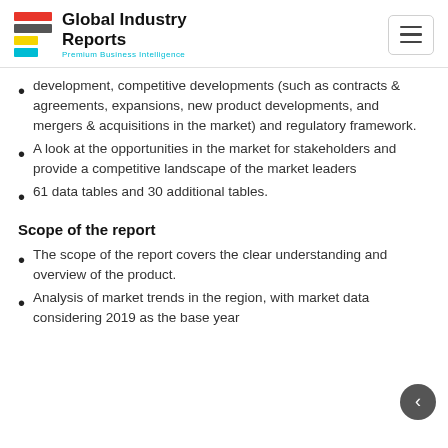Global Industry Reports — Premium Business Intelligence
development, competitive developments (such as contracts & agreements, expansions, new product developments, and mergers & acquisitions in the market) and regulatory framework.
A look at the opportunities in the market for stakeholders and provide a competitive landscape of the market leaders
61 data tables and 30 additional tables.
Scope of the report
The scope of the report covers the clear understanding and overview of the product.
Analysis of market trends in the region, with market data considering 2019 as the base year